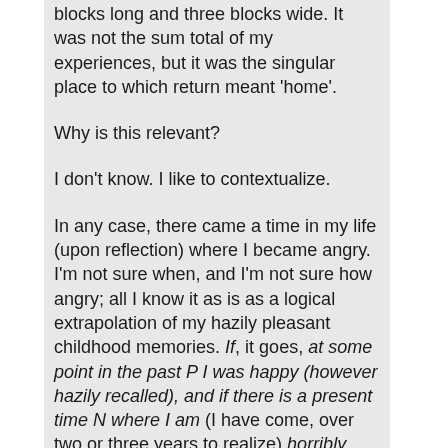Life was perhaps ten blocks long and three blocks wide. It was not the sum total of my experiences, but it was the singular place to which return meant 'home'.
Why is this relevant?
I don't know. I like to contextualize.
In any case, there came a time in my life (upon reflection) where I became angry. I'm not sure when, and I'm not sure how angry; all I know it as is as a logical extrapolation of my hazily pleasant childhood memories. If, it goes, at some point in the past P I was happy (however hazily recalled), and if there is a present time N where I am (I have come, over two or three years to realize) horribly